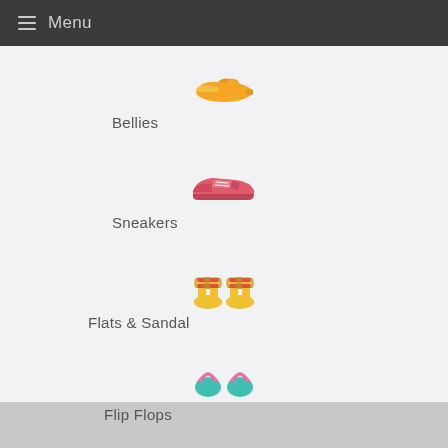Menu
[Figure (illustration): Orange/yellow ballet flat shoe icon]
Bellies
[Figure (illustration): Pink/red sneaker shoe icon]
Sneakers
[Figure (illustration): Yellow sandals with red stripes icon]
Flats & Sandal
[Figure (illustration): Teal/turquoise flip flops with pink straps icon]
Flip Flops